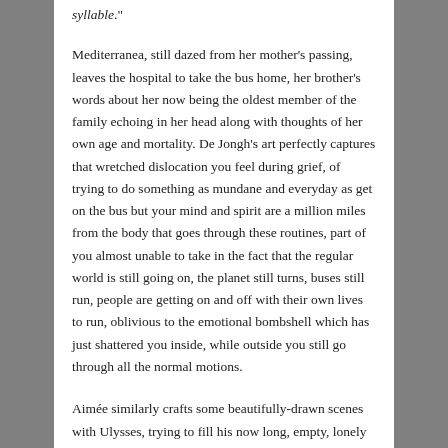syllable."
Mediterranea, still dazed from her mother's passing, leaves the hospital to take the bus home, her brother's words about her now being the oldest member of the family echoing in her head along with thoughts of her own age and mortality. De Jongh's art perfectly captures that wretched dislocation you feel during grief, of trying to do something as mundane and everyday as get on the bus but your mind and spirit are a million miles from the body that goes through these routines, part of you almost unable to take in the fact that the regular world is still going on, the planet still turns, buses still run, people are getting on and off with their own lives to run, oblivious to the emotional bombshell which has just shattered you inside, while outside you still go through all the normal motions.
Aimée similarly crafts some beautifully-drawn scenes with Ulysses, trying to fill his now long, empty, lonely days. Sure there are little fun moments, like hanging with a regular group of fellow supporters of his small (and not